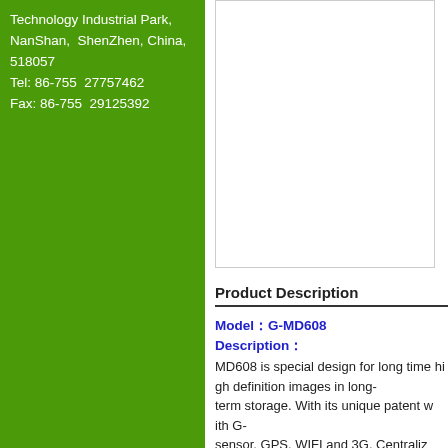Technology Industrial Park, NanShan,  ShenZhen, China, 518057
Tel: 86-755  27757462
Fax: 86-755  29125392
[Figure (other): White rectangular box/image area on right column, upper portion]
Product Description
Model：G-MD608
Description：
MD608 is special design for long time hi gh definition images in long-term storage. With its unique patent with G-sensor, GPS, WIFI and 3G. Centraliz...